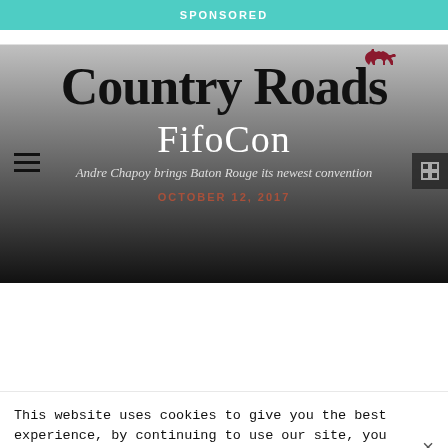SPONSORED
[Figure (logo): Country Roads magazine logo with red horse silhouette above the text]
FifoCon
Andre Chapoy brings Baton Rouge its newest convention
OCTOBER 12, 2017
This website uses cookies to give you the best experience, by continuing to use our site, you agree to our privacy policy